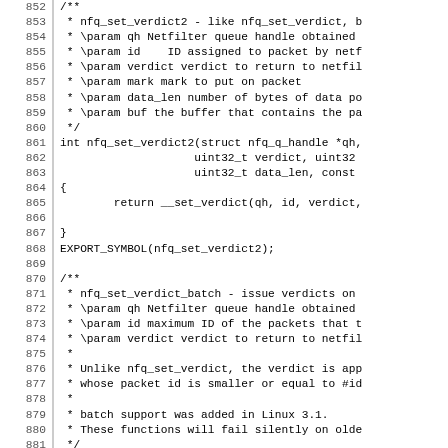Source code listing lines 852-881 showing nfq_set_verdict2 and nfq_set_verdict_batch function documentation and implementation in C.